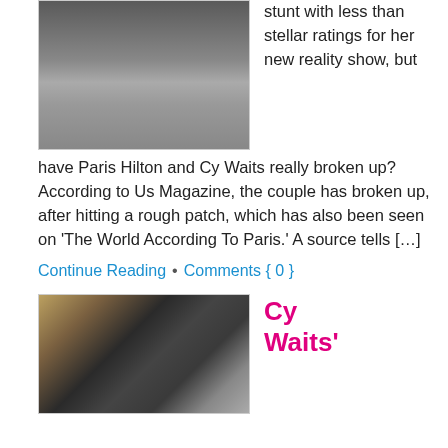[Figure (photo): Cropped photo showing legs and feet of two people walking on pavement, one wearing black outfit with tan shoes, other in jeans and black boots]
stunt with less than stellar ratings for her new reality show, but have Paris Hilton and Cy Waits really broken up? According to Us Magazine, the couple has broken up, after hitting a rough patch, which has also been seen on ‘The World According To Paris.’ A source tells […]
Continue Reading  •  Comments { 0 }
[Figure (photo): Photo of Paris Hilton and Cy Waits together, both wearing dark clothing and sunglasses, indoors]
Cy Waits’